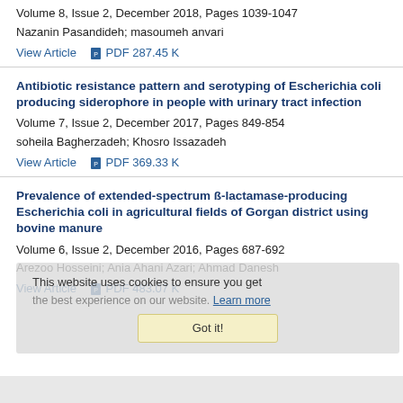Volume 8, Issue 2, December 2018, Pages 1039-1047
Nazanin Pasandideh; masoumeh anvari
View Article   PDF 287.45 K
Antibiotic resistance pattern and serotyping of Escherichia coli producing siderophore in people with urinary tract infection
Volume 7, Issue 2, December 2017, Pages 849-854
soheila Bagherzadeh; Khosro Issazadeh
View Article   PDF 369.33 K
Prevalence of extended-spectrum ß-lactamase-producing Escherichia coli in agricultural fields of Gorgan district using bovine manure
Volume 6, Issue 2, December 2016, Pages 687-692
Arezoo Hosseini; Ania Ahani Azari; Ahmad Danesh
View Article   PDF 483.07 K